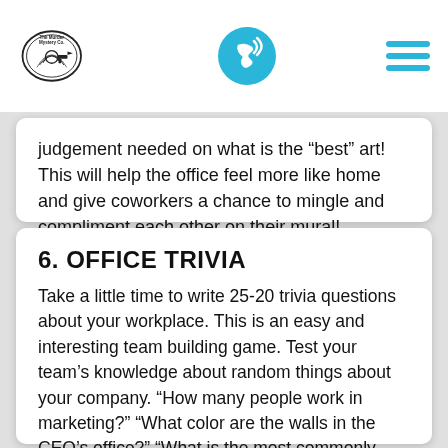The Murder Mystery Co. [logo] [phone icon] [hamburger menu]
judgement needed on what is the “best” art! This will help the office feel more like home and give coworkers a chance to mingle and compliment each other on their mural!
6. OFFICE TRIVIA
Take a little time to write 25-20 trivia questions about your workplace. This is an easy and interesting team building game. Test your team’s knowledge about random things about your company. “How many people work in marketing?” “What color are the walls in the CEO’s office?” “What is the most commonly ordered-in restaurant in the office?” “Who is the youngest in the office?” See who has been paying attention to their surroundings!